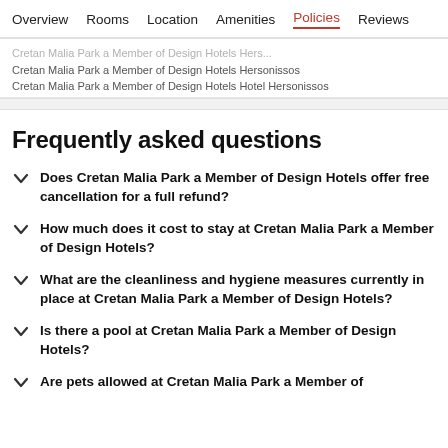Overview  Rooms  Location  Amenities  Policies  Reviews
Cretan Malia Park a Member of Design Hotels Hersonissos
Cretan Malia Park a Member of Design Hotels Hotel Hersonissos
Frequently asked questions
Does Cretan Malia Park a Member of Design Hotels offer free cancellation for a full refund?
How much does it cost to stay at Cretan Malia Park a Member of Design Hotels?
What are the cleanliness and hygiene measures currently in place at Cretan Malia Park a Member of Design Hotels?
Is there a pool at Cretan Malia Park a Member of Design Hotels?
Are pets allowed at Cretan Malia Park a Member of